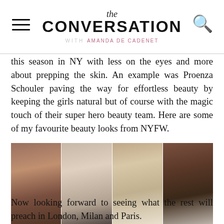the CONVERSATION with AMANDA DE CADENET
this season in NY with less on the eyes and more about prepping the skin. An example was Proenza Schouler paving the way for effortless beauty by keeping the girls natural but of course with the magic touch of their super hero beauty team. Here are some of my favourite beauty looks from NYFW.
[Figure (photo): Four fashion models shown side by side in a horizontal strip, each with a natural beauty look. Left to right: model with dark bangs and long dark hair, model with dark hair and pale blue top, model with wavy blonde-brown hair and white top, model with slicked-back dark hair and red lips.]
Now looking forward to seeing what the rest will preach in London, Milan and Paris.